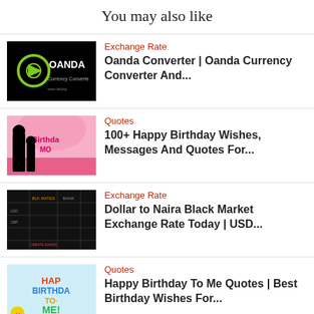You may also like
[Figure (photo): OANDA Currency Converter logo on black background]
Exchange Rate
Oanda Converter | Oanda Currency Converter And...
[Figure (photo): Birthday Mom illustration with silhouettes on pink background]
Quotes
100+ Happy Birthday Wishes, Messages And Quotes For...
[Figure (photo): Dollar to Naira Black Market table on dark background]
Exchange Rate
Dollar to Naira Black Market Exchange Rate Today | USD...
[Figure (photo): Colorful Happy Birthday To Me text graphic]
Quotes
Happy Birthday To Me Quotes | Best Birthday Wishes For...
[Figure (photo): A Comprehensive Guide on... article thumbnail]
Articles